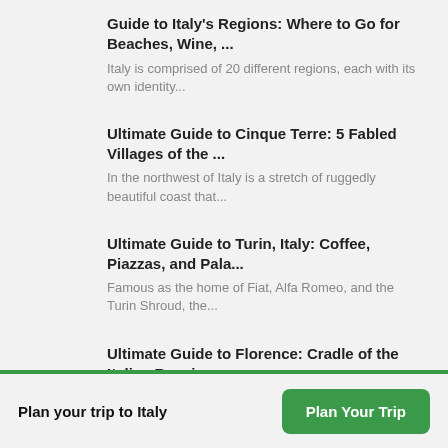Guide to Italy's Regions: Where to Go for Beaches, Wine, ...
Italy is comprised of 20 different regions, each with its own identity...
Ultimate Guide to Cinque Terre: 5 Fabled Villages of the ...
In the northwest of Italy is a stretch of ruggedly beautiful coast that...
Ultimate Guide to Turin, Italy: Coffee, Piazzas, and Pala...
Famous as the home of Fiat, Alfa Romeo, and the Turin Shroud, the...
Ultimate Guide to Florence: Cradle of the Italian Renaiss...
One of the world's most beloved cities, Florence was the birthplace of...
Ultimate Guide to Umbria: Hill Towns, Art, and Culinary T...
Plan your trip to Italy
Plan Your Trip